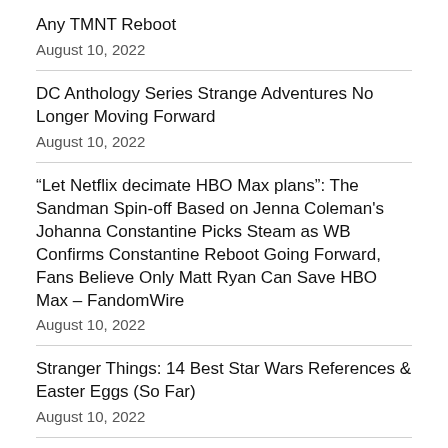Any TMNT Reboot
August 10, 2022
DC Anthology Series Strange Adventures No Longer Moving Forward
August 10, 2022
“Let Netflix decimate HBO Max plans”: The Sandman Spin-off Based on Jenna Coleman's Johanna Constantine Picks Steam as WB Confirms Constantine Reboot Going Forward, Fans Believe Only Matt Ryan Can Save HBO Max – FandomWire
August 10, 2022
Stranger Things: 14 Best Star Wars References & Easter Eggs (So Far)
August 10, 2022
Phase 6 Makes MCU's Missing New Hero Likely For Avengers 5